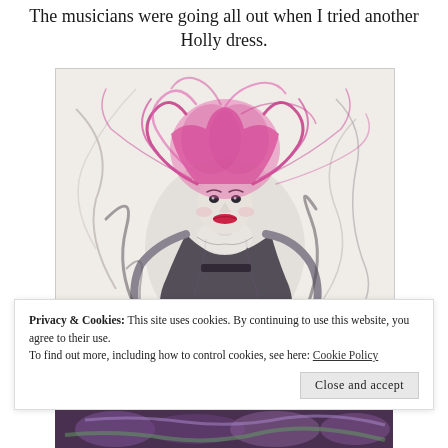The musicians were going all out when I tried another Holly dress.
[Figure (illustration): A mixed-media artwork showing a figure with dramatic pink/magenta wild hair, pale face with red lips, wearing a dark dress. The figure is rendered in expressive black charcoal-like strokes on a light background, with pink/magenta colored elements.]
Privacy & Cookies: This site uses cookies. By continuing to use this website, you agree to their use.
To find out more, including how to control cookies, see here: Cookie Policy
Close and accept
[Figure (photo): Partial view of another artwork visible at the bottom of the page, showing colorful floral or organic forms in purple and green tones.]